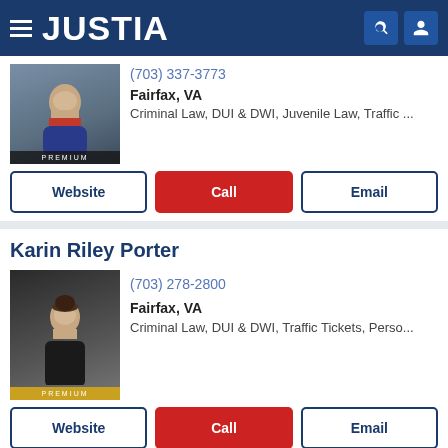JUSTIA
(703) 337-3773
Fairfax, VA
Criminal Law, DUI & DWI, Juvenile Law, Traffic ...
Website | Call | Email
Karin Riley Porter
(703) 278-2800
Fairfax, VA
Criminal Law, DUI & DWI, Traffic Tickets, Perso...
Website | Call | Email
Michael A Robinson